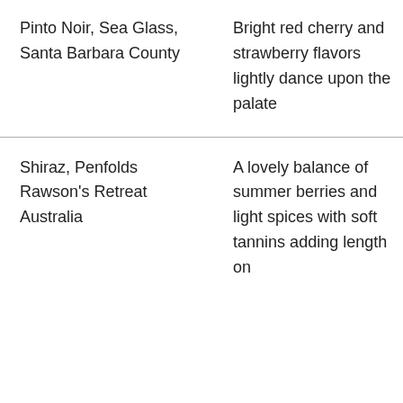| Pinto Noir, Sea Glass, Santa Barbara County | Bright red cherry and strawberry flavors lightly dance upon the palate |
| Shiraz, Penfolds Rawson's Retreat Australia | A lovely balance of summer berries and light spices with soft tannins adding length on |